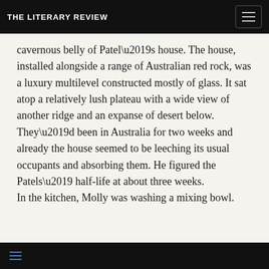THE LITERARY REVIEW
cavernous belly of Patel’s house. The house, installed alongside a range of Australian red rock, was a luxury multilevel constructed mostly of glass. It sat atop a relatively lush plateau with a wide view of another ridge and an expanse of desert below. They’d been in Australia for two weeks and already the house seemed to be leeching its usual occupants and absorbing them. He figured the Patels’ half-life at about three weeks.

In the kitchen, Molly was washing a mixing bowl.